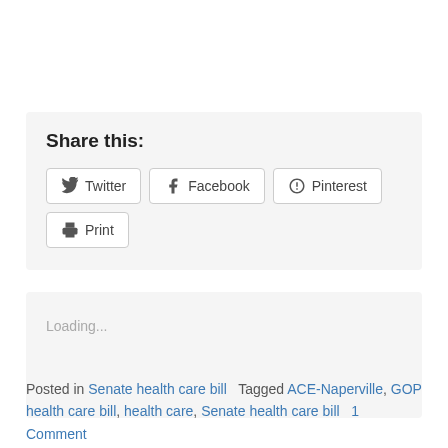Share this:
Twitter  Facebook  Pinterest  Print
Loading...
Posted in Senate health care bill  Tagged ACE-Naperville, GOP health care bill, health care, Senate health care bill  1 Comment